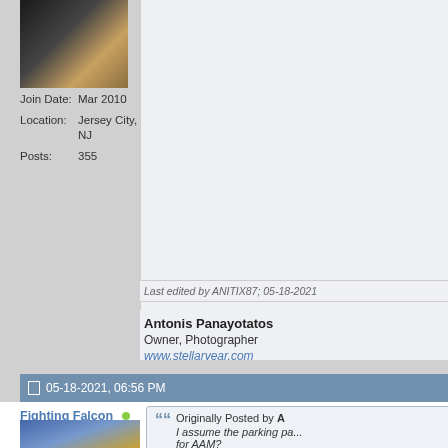[Figure (photo): User avatar photo showing a dark silhouette figure against a golden/warm background]
Join Date: Mar 2010
Location: Jersey City, NJ
Posts: 355
Last edited by ANITIX87; 05-18-2021
Antonis Panayotatos
Owner, Photographer
www.stellaryear.com

Canon 5D MkIII, Canon 7DMkII
50mm f/1.4, Sigma 85mm f/1.4A
Macro, Sigma 120-300 f/2.8 DG
05-18-2021, 06:56 PM
Fighting Falcon
Member
Originally Posted by A
I assume the parking pa... for AAM?
[Figure (photo): User avatar photo showing what appears to be an Army cap or hat against a blue/grey background]